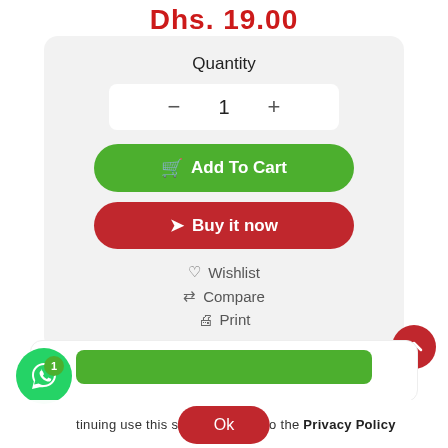Dhs. 19.00
Quantity
1
Add To Cart
Buy it now
Wishlist
Compare
Print
tinuing use this site, you agree to the Privacy Policy
Ok